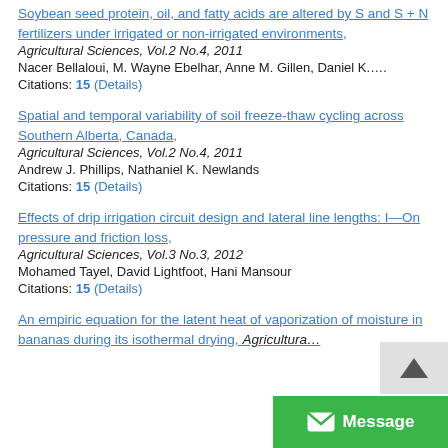Soybean seed protein, oil, and fatty acids are altered by S and S + N fertilizers under irrigated or non-irrigated environments, Agricultural Sciences, Vol.2 No.4, 2011
Nacer Bellaloui, M. Wayne Ebelhar, Anne M. Gillen, Daniel K....
Citations: 15 (Details)
Spatial and temporal variability of soil freeze-thaw cycling across Southern Alberta, Canada, Agricultural Sciences, Vol.2 No.4, 2011
Andrew J. Phillips, Nathaniel K. Newlands
Citations: 15 (Details)
Effects of drip irrigation circuit design and lateral line lengths: I—On pressure and friction loss, Agricultural Sciences, Vol.3 No.3, 2012
Mohamed Tayel, David Lightfoot, Hani Mansour
Citations: 15 (Details)
An empiric equation for the latent heat of vaporization of moisture in bananas during its isothermal drying, Agricultura...